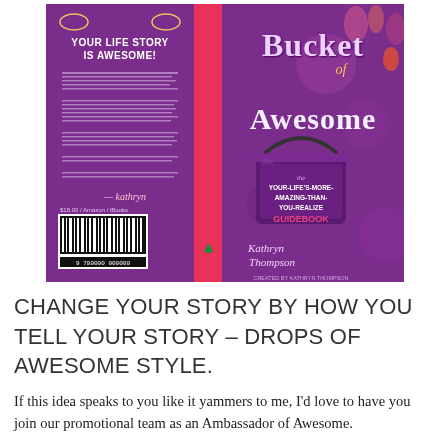[Figure (photo): Book cover of 'Bucket of Awesome' by Kathryn Thompson showing front cover, spine, and back cover. The cover is purple with decorative floral elements. The front cover shows a purple bucket with text 'the YOUR-LIFE'S-MORE-AMAZING-THAN-YOU-REALIZE GUIDEBOOK' and the author's name 'Kathryn Thompson'. The back cover reads 'YOUR LIFE STORY IS AWESOME!' with body text and a barcode.]
CHANGE YOUR STORY BY HOW YOU TELL YOUR STORY – DROPS OF AWESOME STYLE.
If this idea speaks to you like it yammers to me, I'd love to have you join our promotional team as an Ambassador of Awesome.